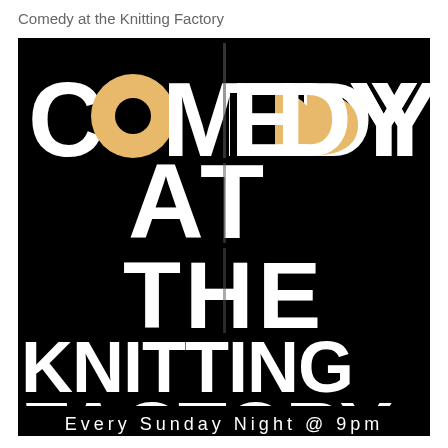Comedy at the Knitting Factory
[Figure (illustration): Black poster with large white bold text reading COMEDY AT THE KNITTING FACTORY. The O letters in COMEDY are replaced with golden/tan colored circles forming a face-like motif. Bottom of poster reads Every Sunday Night @ 9pm in white spaced text on black background.]